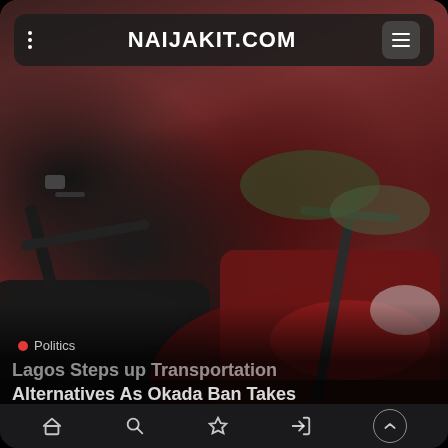[Figure (screenshot): Screenshot of naijakit.com mobile website showing a photo of motorcycles (okada) piled together, with navigation bar at top showing site name NAIJAKIT.COM, a Politics category tag, and partial article headline 'Lagos Steps Up Transportation Alternatives As Okada Ban Takes']
NAIJAKIT.COM
Politics
Lagos Steps up Transportation Alternatives As Okada Ban Takes